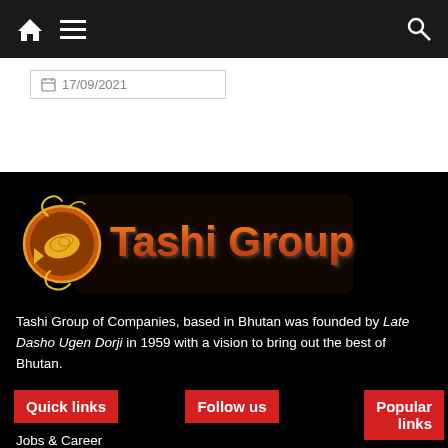Navigation bar with home, menu, and search icons
17/09/2021
[Figure (logo): Tashi Group logo with golden fish symbol and orange text 'Tashi Group' on black background with glow effect]
Tashi Group of Companies, based in Bhutan was founded by Late Dasho Ugen Dorji in 1959 with a vision to bring out the best of Bhutan.
Quick links
Follow us
Popular links
Jobs & Career